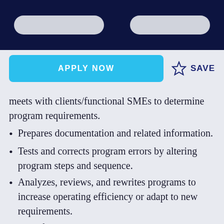meets with clients/functional SMEs to determine program requirements.
Prepares documentation and related information.
Tests and corrects program errors by altering program steps and sequence.
Analyzes, reviews, and rewrites programs to increase operating efficiency or adapt to new requirements.
Identifies problem areas and recommends solutions and standards.
Acts as a member of a product team, supporting teammates.